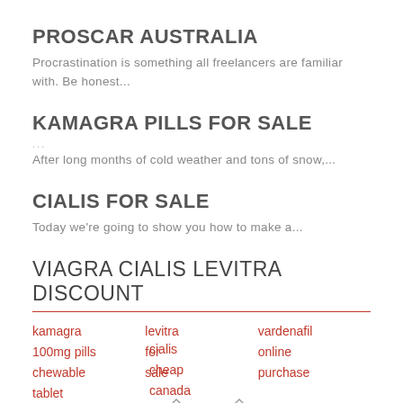PROSCAR AUSTRALIA
Procrastination is something all freelancers are familiar with. Be honest...
KAMAGRA PILLS FOR SALE
After long months of cold weather and tons of snow,...
CIALIS FOR SALE
Today we're going to show you how to make a...
VIAGRA CIALIS LEVITRA DISCOUNT
kamagra levitra vardenafil cialis 100mg pills online cheap chewable for purchase canada tablet sale 90 261